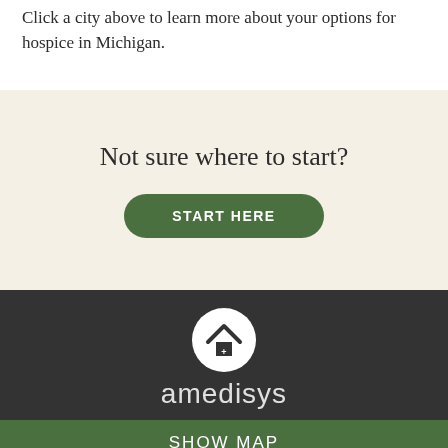Click a city above to learn more about your options for hospice in Michigan.
Not sure where to start?
START HERE
[Figure (logo): Amedisys logo with house icon in a white circle on dark background, with text 'amedisys' below]
SHOW MAP